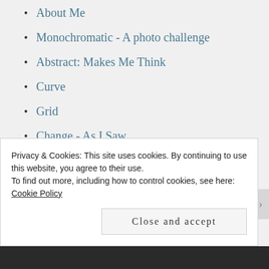About Me
Monochromatic - A photo challenge
Abstract: Makes Me Think
Curve
Grid
Change - As I Saw
VIBRANT!
Happy Place in Many Places!
Morning - it's been beautiful!
Privacy & Cookies: This site uses cookies. By continuing to use this website, you agree to their use.
To find out more, including how to control cookies, see here: Cookie Policy
Close and accept